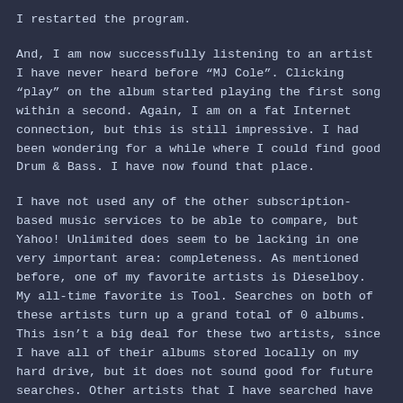I restarted the program.
And, I am now successfully listening to an artist I have never heard before “MJ Cole”. Clicking “play” on the album started playing the first song within a second. Again, I am on a fat Internet connection, but this is still impressive. I had been wondering for a while where I could find good Drum & Bass. I have now found that place.
I have not used any of the other subscription-based music services to be able to compare, but Yahoo! Unlimited does seem to be lacking in one very important area: completeness. As mentioned before, one of my favorite artists is Dieselboy. My all-time favorite is Tool. Searches on both of these artists turn up a grand total of 0 albums. This isn’t a big deal for these two artists, since I have all of their albums stored locally on my hard drive, but it does not sound good for future searches. Other artists that I have searched have missing albums. I understand that this may be very hard to acheive, but what is really needed is for this service to have very close to all the music I would ever be looking for. Then it would really be